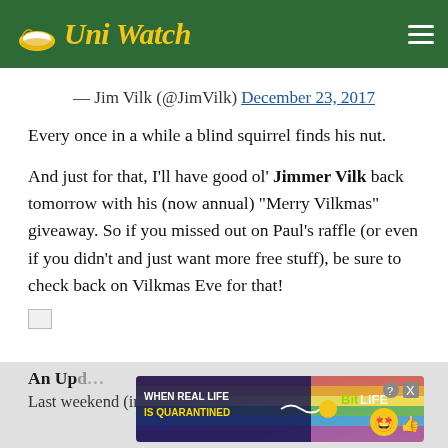Uni Watch
— Jim Vilk (@JimVilk) December 23, 2017
Every once in a while a blind squirrel finds his nut.
And just for that, I'll have good ol' Jimmer Vilk back tomorrow with his (now annual) "Merry Vilkmas" giveaway. So if you missed out on Paul's raffle (or even if you didn't and just want more free stuff), be sure to check back on Vilkmas Eve for that!
[Figure (photo): Broken image placeholder]
An Up...
Last weekend (in case you missed it), I had graphic artist
[Figure (other): BitLife advertisement overlay: 'WHEN REAL LIFE IS QUARANTINED' with rainbow and emoji graphics]